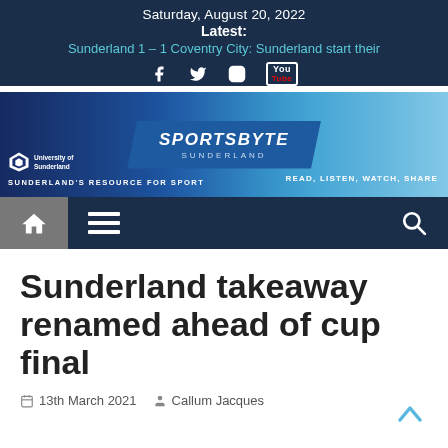Saturday, August 20, 2022
Latest: Sunderland 1 – 1 Coventry City: Sunderland start their
[Figure (screenshot): SportsByte Sunderland website banner with University of Sunderland logo, social media icons (Facebook, Twitter, Instagram, YouTube), and taglines: SUNDERLAND'S RESOURCE FOR SPORT and READ, LISTEN, WATCH, SHARE]
Sunderland takeaway renamed ahead of cup final
13th March 2021   Callum Jacques